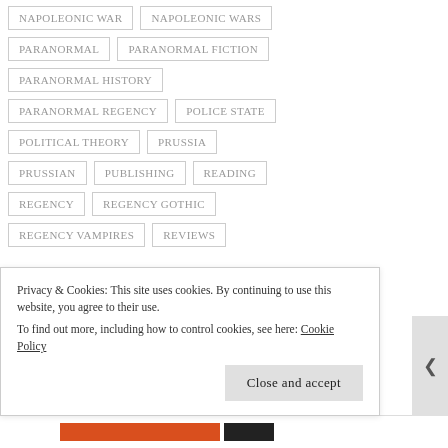NAPOLEONIC WAR
NAPOLEONIC WARS
PARANORMAL
PARANORMAL FICTION
PARANORMAL HISTORY
PARANORMAL REGENCY
POLICE STATE
POLITICAL THEORY
PRUSSIA
PRUSSIAN
PUBLISHING
READING
REGENCY
REGENCY GOTHIC
REGENCY VAMPIRES
REVIEWS
Privacy & Cookies: This site uses cookies. By continuing to use this website, you agree to their use. To find out more, including how to control cookies, see here: Cookie Policy
Close and accept